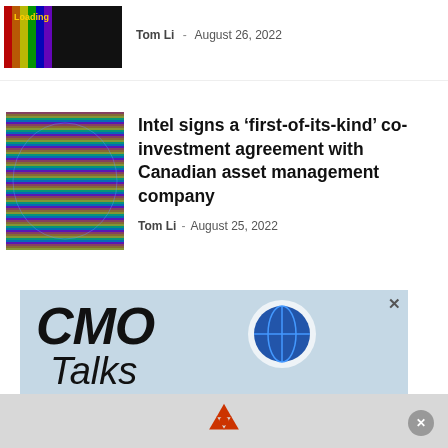[Figure (photo): Dark thumbnail image with colorful vertical stripes (top partial article)]
Tom Li  -  August 26, 2022
[Figure (photo): Intel chip/wafer with colorful rainbow-like pattern on a blue background]
Intel signs a ‘first-of-its-kind’ co-investment agreement with Canadian asset management company
Tom Li  -  August 25, 2022
[Figure (illustration): CMO Talks advertisement produced by ITWC. Shows globe, puzzle pieces and hands. Text: DISCUSSIONS WITH MARTECH LEADERS]